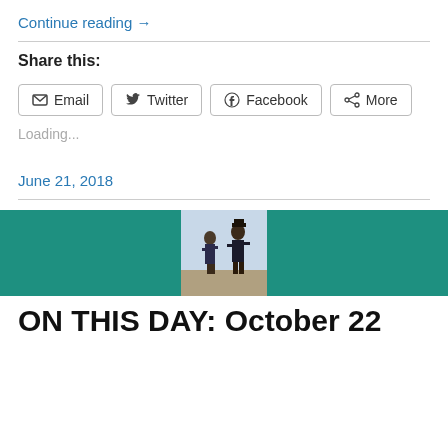Continue reading →
Share this:
Email  Twitter  Facebook  More
Loading...
June 21, 2018
[Figure (illustration): Teal/green banner with a centered illustration of two pirate figures running, one larger figure wearing a hat pursuing a smaller figure, with a rocky background. Classic adventure book illustration style.]
ON THIS DAY: October 22